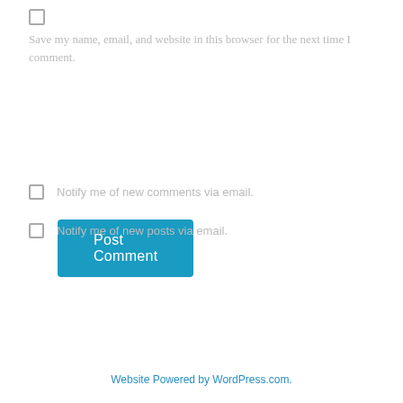Save my name, email, and website in this browser for the next time I comment.
Post Comment
Notify me of new comments via email.
Notify me of new posts via email.
Website Powered by WordPress.com.